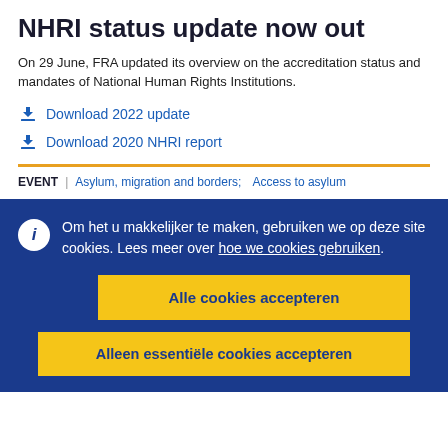NHRI status update now out
On 29 June, FRA updated its overview on the accreditation status and mandates of National Human Rights Institutions.
Download 2022 update
Download 2020 NHRI report
EVENT | Asylum, migration and borders;  Access to asylum
Om het u makkelijker te maken, gebruiken we op deze site cookies. Lees meer over hoe we cookies gebruiken.
Alle cookies accepteren
Alleen essentiële cookies accepteren